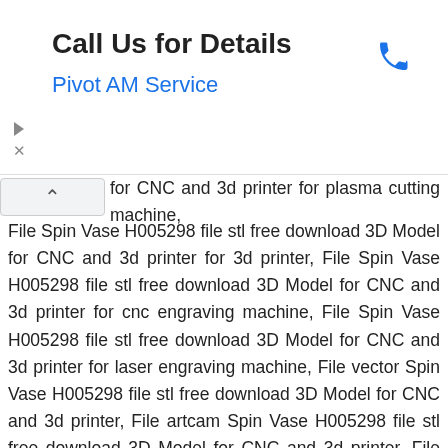[Figure (other): Advertisement banner: 'Call Us for Details' with 'Pivot AM Service' subtitle in blue and a phone icon on the right. Navigation arrows and X button on the left side.]
for CNC and 3d printer for plasma cutting machine, File Spin Vase H005298 file stl free download 3D Model for CNC and 3d printer for 3d printer, File Spin Vase H005298 file stl free download 3D Model for CNC and 3d printer for cnc engraving machine, File Spin Vase H005298 file stl free download 3D Model for CNC and 3d printer for laser engraving machine, File vector Spin Vase H005298 file stl free download 3D Model for CNC and 3d printer, File artcam Spin Vase H005298 file stl free download 3D Model for CNC and 3d printer, File dxf, File 3D model Spin Vase H005298 file stl free download 3D Model for CNC and 3d printer, File cdr, File stl Spin Vase H005298 file stl free download 3D Model for CNC and 3d printer, File obj Spin Vase H005298 file stl free download 3D Model for CNC and 3d printer, File CNC Spin Vase H005298 file stl free download 3D Model for